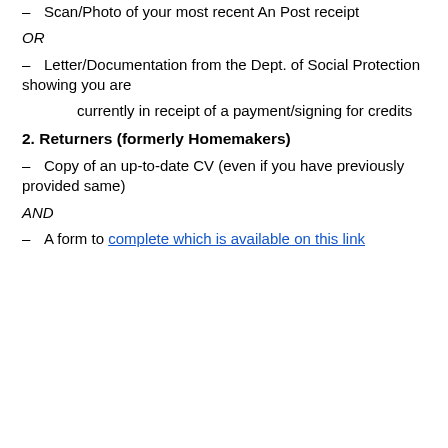– Scan/Photo of your most recent An Post receipt
OR
– Letter/Documentation from the Dept. of Social Protection showing you are
currently in receipt of a payment/signing for credits
2. Returners (formerly Homemakers)
– Copy of an up-to-date CV (even if you have previously provided same)
AND
– A form to complete which is available on this link